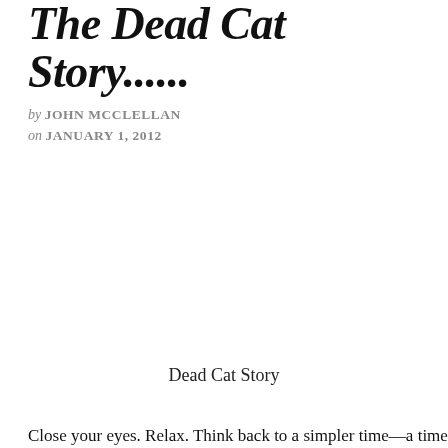The Dead Cat Story......
by JOHN MCCLELLAN
on JANUARY 1, 2012
Dead Cat Story
Close your eyes.  Relax.  Think back to a simpler time—a time